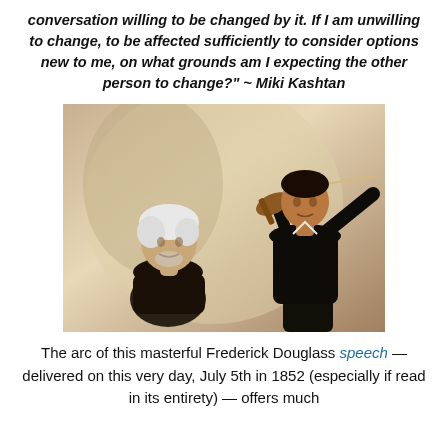conversation willing to be changed by it. If I am unwilling to change, to be affected sufficiently to consider options new to me, on what grounds am I expecting the other person to change?" ~ Miki Kashtan
[Figure (photo): Sepia-toned historical photograph of two people: an older man with white hair seated on the left, and a younger man standing on the right playing a violin.]
The arc of this masterful Frederick Douglass speech — delivered on this very day, July 5th in 1852 (especially if read in its entirety) — offers much